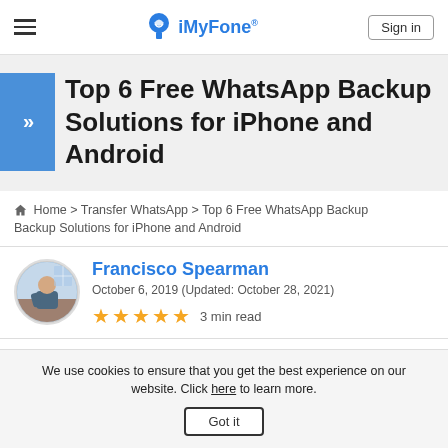iMyFone® — Sign in
Top 6 Free WhatsApp Backup Solutions for iPhone and Android
Home > Transfer WhatsApp > Top 6 Free WhatsApp Backup Solutions for iPhone and Android
Francisco Spearman
October 6, 2019 (Updated: October 28, 2021)
★★★★★ 3 min read
We use cookies to ensure that you get the best experience on our website. Click here to learn more. Got it